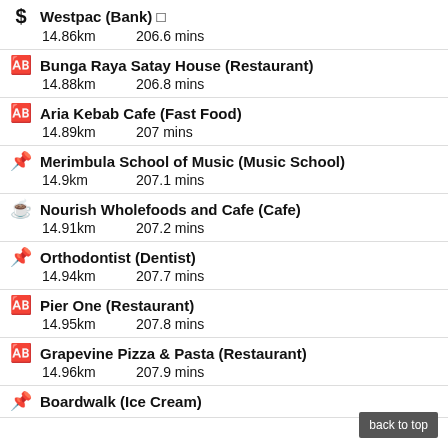Westpac (Bank) — 14.86km, 206.6 mins
Bunga Raya Satay House (Restaurant) — 14.88km, 206.8 mins
Aria Kebab Cafe (Fast Food) — 14.89km, 207 mins
Merimbula School of Music (Music School) — 14.9km, 207.1 mins
Nourish Wholefoods and Cafe (Cafe) — 14.91km, 207.2 mins
Orthodontist (Dentist) — 14.94km, 207.7 mins
Pier One (Restaurant) — 14.95km, 207.8 mins
Grapevine Pizza & Pasta (Restaurant) — 14.96km, 207.9 mins
Boardwalk (Ice Cream)